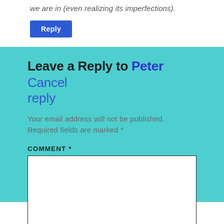we are in (even realizing its imperfections).
Reply
Leave a Reply to Peter Cancel reply
Your email address will not be published. Required fields are marked *
COMMENT *
[Figure (other): Empty comment text area input box]